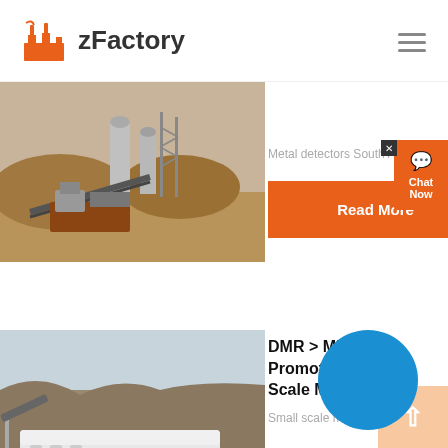zFactory
[Figure (photo): Mining processing facility with industrial equipment, conveyors and silos in an arid landscape]
Metal detectors South Africa. Go…
Read More
[Figure (photo): Large mobile mining crushing equipment on tracks in a quarry]
DMR > Mineral Sy Promotion > S Scale Mining
Small scale mining. There are m…
Read More